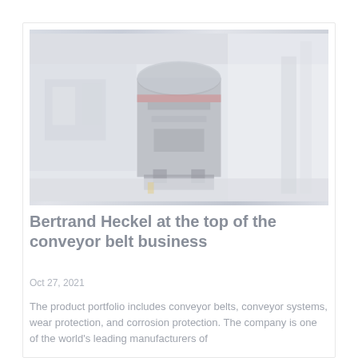[Figure (photo): Industrial machinery photo showing a large conveyor belt or mill machine inside a factory/warehouse setting. The image has a washed-out, faded appearance with light grays and whites.]
Bertrand Heckel at the top of the conveyor belt business
Oct 27, 2021
The product portfolio includes conveyor belts, conveyor systems, wear protection, and corrosion protection. The company is one of the world's leading manufacturers of